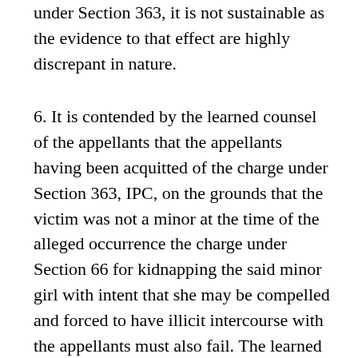under Section 363, it is not sustainable as the evidence to that effect are highly discrepant in nature.
6. It is contended by the learned counsel of the appellants that the appellants having been acquitted of the charge under Section 363, IPC, on the grounds that the victim was not a minor at the time of the alleged occurrence the charge under Section 66 for kidnapping the said minor girl with intent that she may be compelled and forced to have illicit intercourse with the appellants must also fail. The learned Additional Government Advocate, on the other hand, argued in support of the order of conviction and sentence contending that for an offence under Section 366 the age of the victim is immaterial. In the above context, before coming to